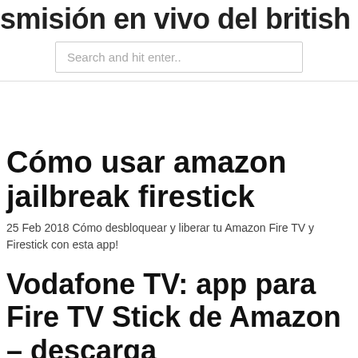smisión en vivo del british open golf
Search and hit enter..
Cómo usar amazon jailbreak firestick
25 Feb 2018 Cómo desbloquear y liberar tu Amazon Fire TV y Firestick con esta app!
Vodafone TV: app para Fire TV Stick de Amazon – descarga
Enable installation of apps from unknown sources in the